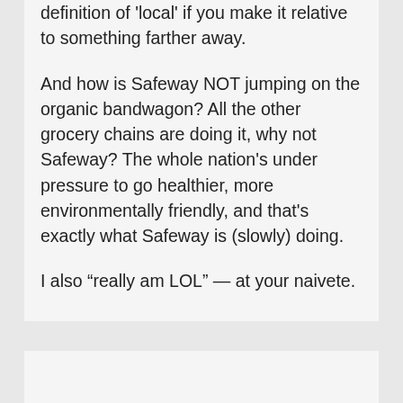definition of 'local' if you make it relative to something farther away.
And how is Safeway NOT jumping on the organic bandwagon? All the other grocery chains are doing it, why not Safeway? The whole nation's under pressure to go healthier, more environmentally friendly, and that's exactly what Safeway is (slowly) doing.
I also “really am LOL” — at your naivete.